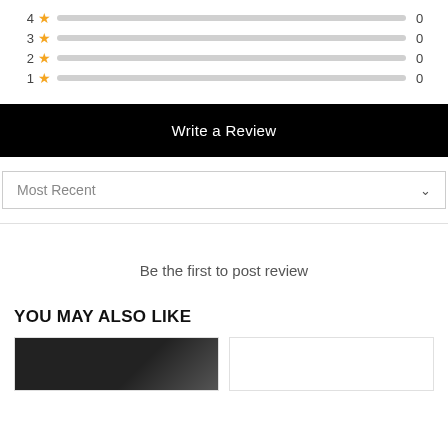[Figure (infographic): Star rating distribution bars for ratings 4, 3, 2, 1 — all showing 0 reviews with empty gray progress bars]
Write a Review
Most Recent
Be the first to post review
YOU MAY ALSO LIKE
[Figure (photo): Two product cards, first card shows a black image placeholder, second card is empty white]